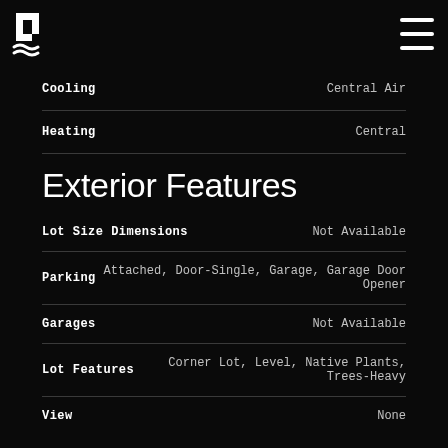LJ [logo] [hamburger menu]
| Field | Value |
| --- | --- |
| Cooling | Central Air |
| Heating | Central |
Exterior Features
| Field | Value |
| --- | --- |
| Lot Size Dimensions | Not Available |
| Parking | Attached, Door-Single, Garage, Garage Door Opener |
| Garages | Not Available |
| Lot Features | Corner Lot, Level, Native Plants, Trees-Heavy |
| View | None |